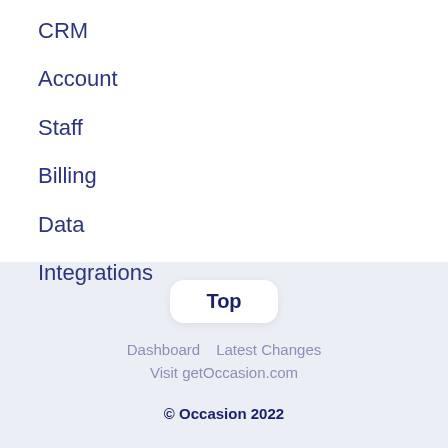CRM
Account
Staff
Billing
Data
Integrations
Top
Dashboard    Latest Changes
Visit getOccasion.com
© Occasion 2022